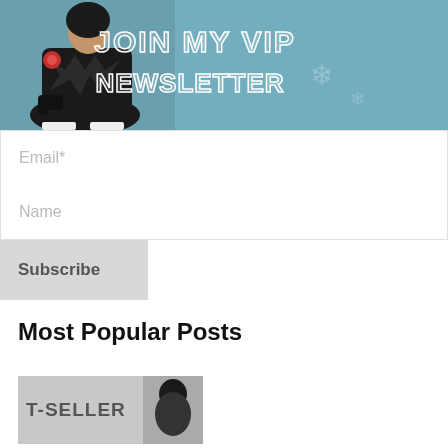[Figure (photo): Promotional banner showing a woman in black outfit sitting against a teal/blue background with text 'JOIN MY VIP NEWSLETTER' in large white outlined letters]
Email*
Name
Subscribe
Most Popular Posts
[Figure (photo): Thumbnail image with text 'T-SELLER' overlaid, showing a person in background]